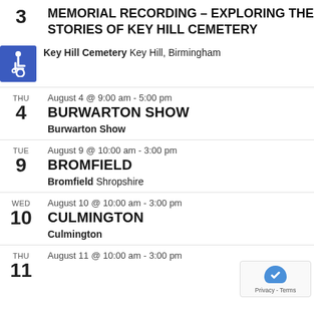3 – MEMORIAL RECORDING – EXPLORING THE STORIES OF KEY HILL CEMETERY
Key Hill Cemetery Key Hill, Birmingham
THU 4 – August 4 @ 9:00 am - 5:00 pm
BURWARTON SHOW
Burwarton Show
TUE 9 – August 9 @ 10:00 am - 3:00 pm
BROMFIELD
Bromfield Shropshire
WED 10 – August 10 @ 10:00 am - 3:00 pm
CULMINGTON
Culmington
THU 11 – August 11 @ 10:00 am - 3:00 pm